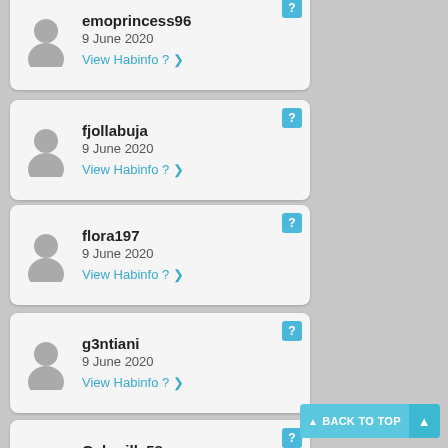emoprincess96 — 9 June 2020 — View Habinfo ?
fjollabuja — 9 June 2020 — View Habinfo ?
flora197 — 9 June 2020 — View Habinfo ?
g3ntiani — 9 June 2020 — View Habinfo ?
Gaberilla58 — 9 June 2020 — View Habinfo ?
GangtsaPlaya — 9 June 2020 — View Habinfo ?
BACK TO TOP